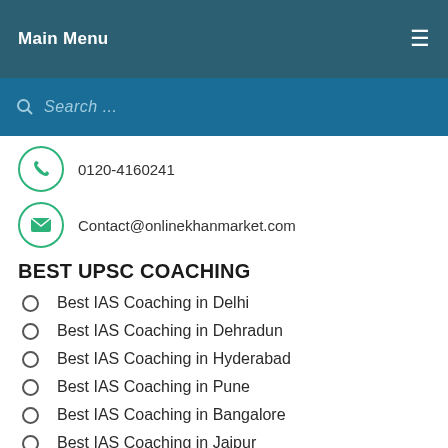Main Menu
Search ...
0120-4160241
Contact@onlinekhanmarket.com
BEST UPSC COACHING
Best IAS Coaching in Delhi
Best IAS Coaching in Dehradun
Best IAS Coaching in Hyderabad
Best IAS Coaching in Pune
Best IAS Coaching in Bangalore
Best IAS Coaching in Jaipur